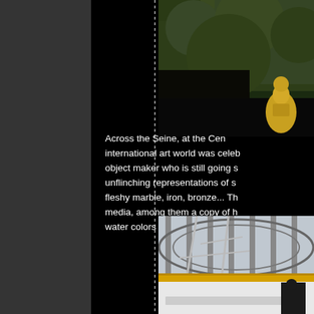[Figure (photo): Top-right photo showing green foliage/trees with a partial view of a golden sculptural figure or statue in the lower right of the image.]
Across the Seine, at the Cen international art world was celeb object maker who is still going s unflinching representations of s fleshy marble, iron, bronze... Th media, among them a copy of h water colors of her aging body p
[Figure (photo): Bottom-right photo showing a building exterior with industrial/architectural features including scaffolding tubes, a yellow stripe, and a white banner or sign at the bottom with partial text visible.]